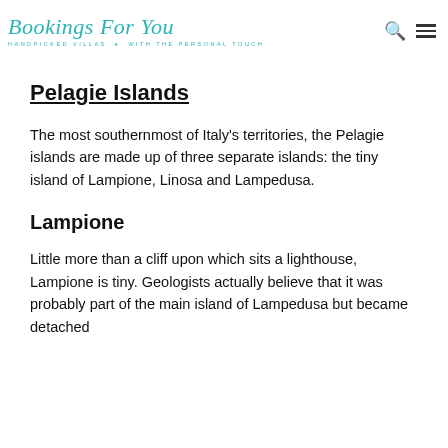Bookings For You — HANDPICKED VILLAS WITH THE PERSONAL TOUCH
Pelagie Islands
The most southernmost of Italy's territories, the Pelagie islands are made up of three separate islands: the tiny island of Lampione, Linosa and Lampedusa.
Lampione
Little more than a cliff upon which sits a lighthouse, Lampione is tiny. Geologists actually believe that it was probably part of the main island of Lampedusa but became detached